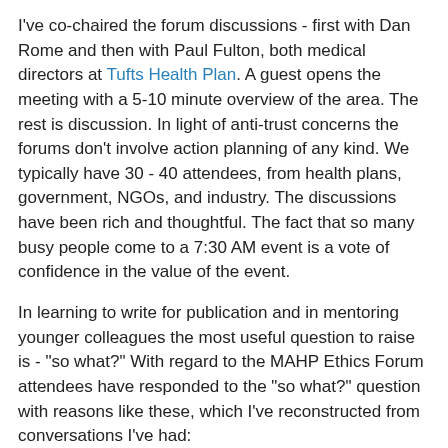I've co-chaired the forum discussions - first with Dan Rome and then with Paul Fulton, both medical directors at Tufts Health Plan. A guest opens the meeting with a 5-10 minute overview of the area. The rest is discussion. In light of anti-trust concerns the forums don't involve action planning of any kind. We typically have 30 - 40 attendees, from health plans, government, NGOs, and industry. The discussions have been rich and thoughtful. The fact that so many busy people come to a 7:30 AM event is a vote of confidence in the value of the event.
In learning to write for publication and in mentoring younger colleagues the most useful question to raise is - "so what?" With regard to the MAHP Ethics Forum attendees have responded to the "so what?" question with reasons like these, which I've reconstructed from conversations I've had:
"We're all in our silos with noses to the grindstone. It's helpful to step back and ask - 'what are the ultimate purposes for what we do?' Doing that helps me get back to what's most important in our work."